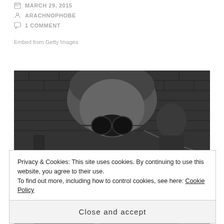MARCH 29, 2015
ARACHNOPHOBE
1 COMMENT
Embed from Getty Images
[Figure (photo): Black and white photograph of a person with curly hair wearing large goggles, leaning forward and appearing to work on something, with a brick wall in the background.]
Privacy & Cookies: This site uses cookies. By continuing to use this website, you agree to their use.
To find out more, including how to control cookies, see here: Cookie Policy
Close and accept